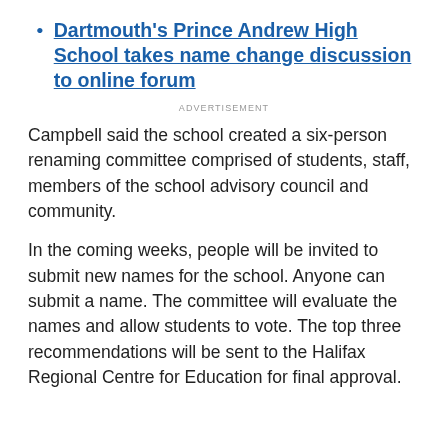Dartmouth's Prince Andrew High School takes name change discussion to online forum
ADVERTISEMENT
Campbell said the school created a six-person renaming committee comprised of students, staff, members of the school advisory council and community.
In the coming weeks, people will be invited to submit new names for the school. Anyone can submit a name. The committee will evaluate the names and allow students to vote. The top three recommendations will be sent to the Halifax Regional Centre for Education for final approval.